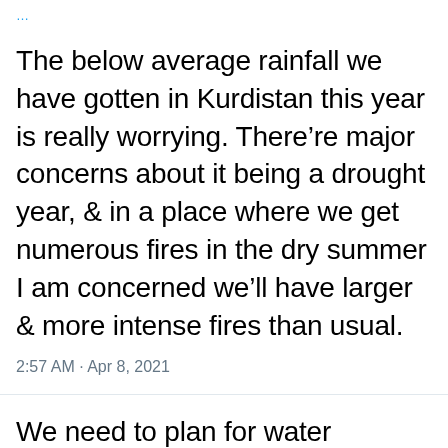...
The below average rainfall we have gotten in Kurdistan this year is really worrying. There’re major concerns about it being a drought year, & in a place where we get numerous fires in the dry summer I am concerned we’ll have larger & more intense fires than usual.
2:57 AM · Apr 8, 2021
We need to plan for water conservation & potential large fires in mountainous & rural areas. We’ll also have wide-scale